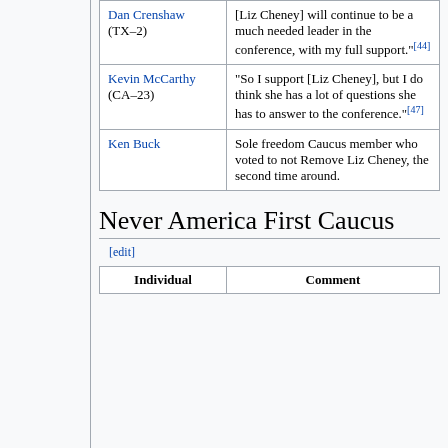| Individual | Comment |
| --- | --- |
| Dan Crenshaw (TX–2) | [Liz Cheney] will continue to be a much needed leader in the conference, with my full support.[44] |
| Kevin McCarthy (CA–23) | "So I support [Liz Cheney], but I do think she has a lot of questions she has to answer to the conference."[47] |
| Ken Buck | Sole freedom Caucus member who voted to not Remove Liz Cheney, the second time around. |
Never America First Caucus
[edit]
| Individual | Comment |
| --- | --- |